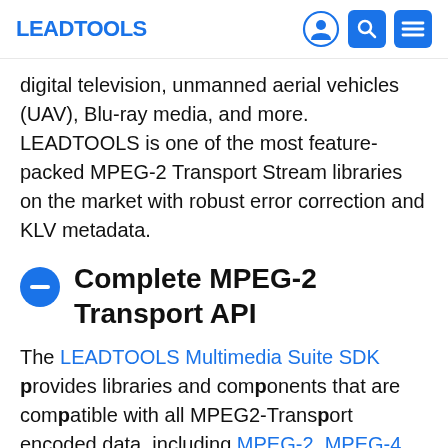LEADTOOLS
digital television, unmanned aerial vehicles (UAV), Blu-ray media, and more. LEADTOOLS is one of the most feature-packed MPEG-2 Transport Stream libraries on the market with robust error correction and KLV metadata.
Complete MPEG-2 Transport API
The LEADTOOLS Multimedia Suite SDK provides libraries and components that are compatible with all MPEG2-Transport encoded data, including MPEG-2, MPEG-4, H.265, H.264, AAC, AC3, LPCM, and MPEG Audio. This SDK product provides components to play and create MPEG-2